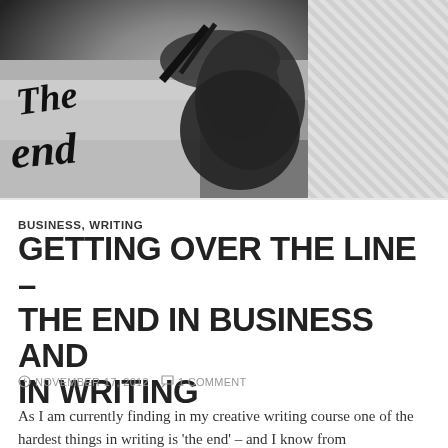[Figure (photo): Black and white photograph of a hand writing 'The end' in calligraphy/brush lettering on paper. The left portion shows the dramatic close-up of the writing and hand, while the right side of the image area has a diagonal stripe pattern background.]
BUSINESS, WRITING
GETTING OVER THE LINE – THE END IN BUSINESS AND IN WRITING
NOVEMBER 17, 2012   1 COMMENT
As I am currently finding in my creative writing course one of the hardest things in writing is 'the end' – and I know from